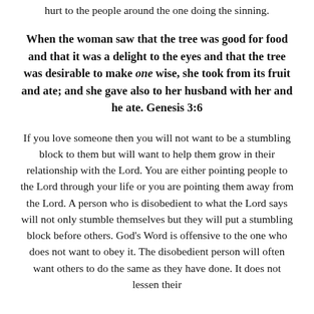hurt to the people around the one doing the sinning.
When the woman saw that the tree was good for food and that it was a delight to the eyes and that the tree was desirable to make one wise, she took from its fruit and ate; and she gave also to her husband with her and he ate. Genesis 3:6
If you love someone then you will not want to be a stumbling block to them but will want to help them grow in their relationship with the Lord. You are either pointing people to the Lord through your life or you are pointing them away from the Lord. A person who is disobedient to what the Lord says will not only stumble themselves but they will put a stumbling block before others. God’s Word is offensive to the one who does not want to obey it. The disobedient person will often want others to do the same as they have done. It does not lessen their